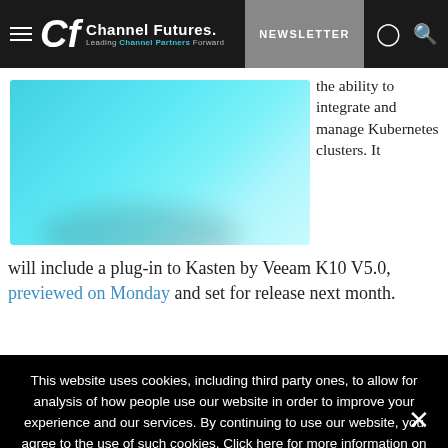Channel Futures — Leading Channel Partners Forward | NEWSLETTER
[Figure (photo): Teal/cyan colored image related to article content]
the ability to integrate and manage Kubernetes clusters. It will include a plug-in to Kasten by Veeam K10 V5.0, previewed on Monday and set for release next month.
This website uses cookies, including third party ones, to allow for analysis of how people use our website in order to improve your experience and our services. By continuing to use our website, you agree to the use of such cookies. Click here for more information on our Cookie Policy and Privacy Policy.